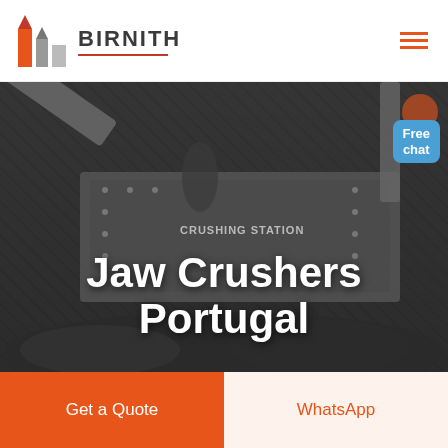[Figure (logo): Birnith company logo with orange building/construction icon and company name BIRNITH in bold grey letters with red underline]
[Figure (photo): Industrial jaw crusher / crushing station machinery in a dark, moody industrial setting with rocks/coal in the foreground]
Jaw Crushers Portugal
Free chat
Get a Quote
WhatsApp